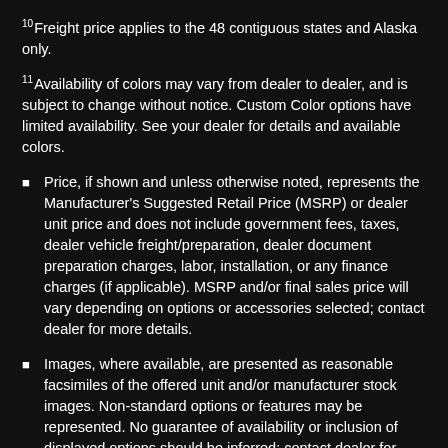10Freight price applies to the 48 contiguous states and Alaska only.
11Availability of colors may vary from dealer to dealer, and is subject to change without notice. Custom Color options have limited availability. See your dealer for details and available colors.
Price, if shown and unless otherwise noted, represents the Manufacturer's Suggested Retail Price (MSRP) or dealer unit price and does not include government fees, taxes, dealer vehicle freight/preparation, dealer document preparation charges, labor, installation, or any finance charges (if applicable). MSRP and/or final sales price will vary depending on options or accessories selected; contact dealer for more details.
Images, where available, are presented as reasonable facsimiles of the offered unit and/or manufacturer stock images. Non-standard options or features may be represented. No guarantee of availability or inclusion of displayed options should be inferred; contact dealer for more details.